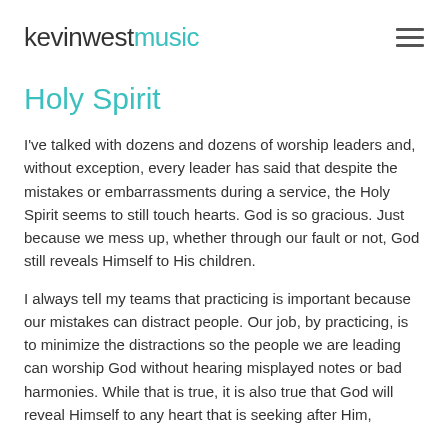kevinwestmusic
Holy Spirit
I've talked with dozens and dozens of worship leaders and, without exception, every leader has said that despite the mistakes or embarrassments during a service, the Holy Spirit seems to still touch hearts.  God is so gracious.  Just because we mess up, whether through our fault or not, God still reveals Himself to His children.
I always tell my teams that practicing is important because our mistakes can distract people.  Our job, by practicing, is to minimize the distractions so the people we are leading can worship God without hearing misplayed notes or bad harmonies.  While that is true, it is also true that God will reveal Himself to any heart that is seeking after Him,